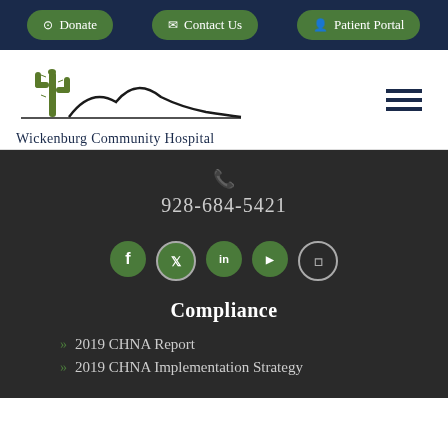Donate | Contact Us | Patient Portal
[Figure (logo): Wickenburg Community Hospital logo with cactus and mountain silhouette]
928-684-5421
[Figure (infographic): Social media icons: Facebook, Twitter, LinkedIn, YouTube, Instagram]
Compliance
2019 CHNA Report
2019 CHNA Implementation Strategy